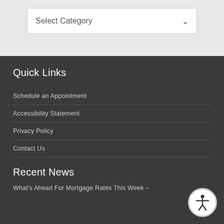[Figure (screenshot): A dropdown/select input field with placeholder text 'Select Category' and a chevron/arrow icon on the right, set against a light gray background.]
Quick Links
Schedule an Appointment
Accessibility Statement
Privacy Policy
Contact Us
Recent News
What's Ahead For Mortgage Rates This Week –